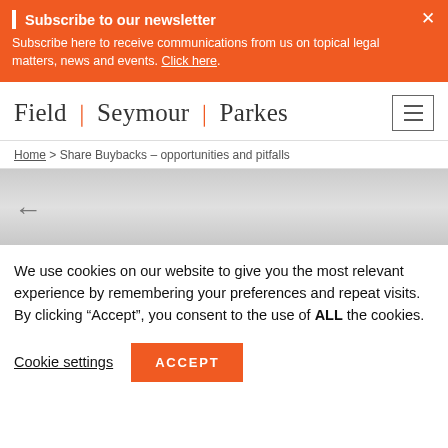Subscribe to our newsletter
Subscribe here to receive communications from us on topical legal matters, news and events. Click here.
Field | Seymour | Parkes
Home > Share Buybacks – opportunities and pitfalls
[Figure (illustration): Grey gradient hero banner area with a left-pointing back arrow]
We use cookies on our website to give you the most relevant experience by remembering your preferences and repeat visits. By clicking "Accept", you consent to the use of ALL the cookies.
Cookie settings   ACCEPT